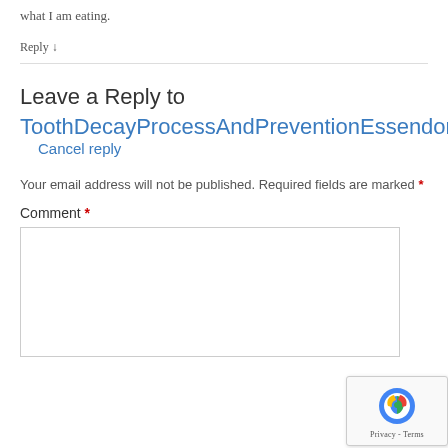what I am eating.
Reply ↓
Leave a Reply to ToothDecayProcessAndPreventionEssendon  Cancel reply
Your email address will not be published. Required fields are marked *
Comment *